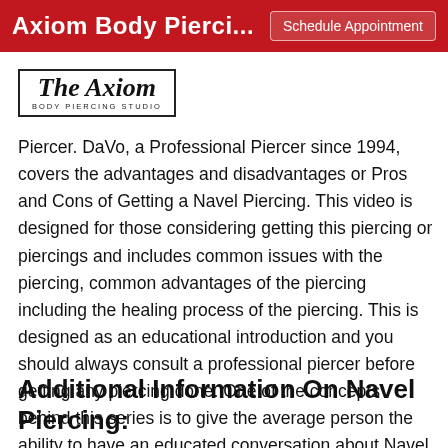Axiom Body Pierci... | Schedule Appointment
[Figure (logo): The Axiom Body Piercing Studio logo in a rectangular border with italic script text]
Piercer. DaVo, a Professional Piercer since 1994, covers the advantages and disadvantages or Pros and Cons of Getting a Navel Piercing. This video is designed for those considering getting this piercing or piercings and includes common issues with the piercing, common advantages of the piercing including the healing process of the piercing. This is designed as an educational introduction and you should always consult a professional piercer before getting any piercing done. One of the concepts behind this series is to give the average person the ability to have an educated conversation about Navel Piercing with their piercer.
Additional Information On Navel Piercing: